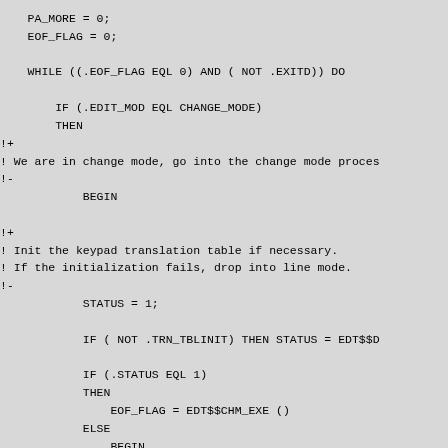PA_MORE = 0;
    EOF_FLAG = 0;

    WHILE ((.EOF_FLAG EQL 0) AND ( NOT .EXITD)) DO

        IF (.EDIT_MOD EQL CHANGE_MODE)
        THEN
!+
! We are in change mode, go into the change mode proces
!-
            BEGIN

!+
! Init the keypad translation table if necessary.
! If the initialization fails, drop into line mode.
!-
            STATUS = 1;

            IF ( NOT .TRN_TBLINIT) THEN STATUS = EDT$$D

            IF (.STATUS EQL 1)
            THEN
                EOF_FLAG = EDT$$CHM_EXE ()
            ELSE
                BEGIN
                EDT$$MSG_TOSTR (.STATUS);
                EDT$$FMT_CRLF ();
                EDIT_MOD = LINE_MODE;
                END;